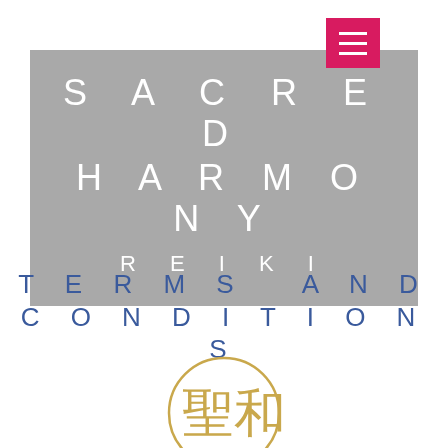[Figure (logo): Pink/magenta hamburger menu button with three white horizontal lines]
SACRED HARMONY REIKI
TERMS AND CONDITIONS
[Figure (illustration): Circular gold-outlined seal/logo with Japanese kanji characters in gold, partially visible at bottom of page]